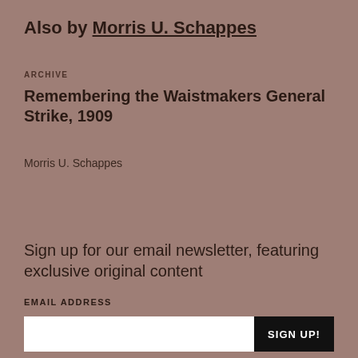Also by Morris U. Schappes
ARCHIVE
Remembering the Waistmakers General Strike, 1909
Morris U. Schappes
Sign up for our email newsletter, featuring exclusive original content
EMAIL ADDRESS